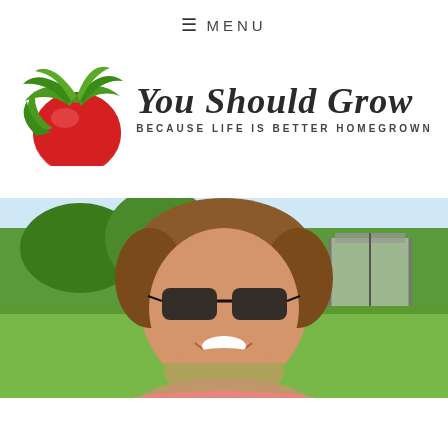≡ MENU
[Figure (logo): You Should Grow logo with a watercolor tomato and text 'You Should Grow - Because Life Is Better Homegrown']
[Figure (photo): Woman with sunglasses smiling outdoors, with trees and a gazebo/canopy structure in the background]